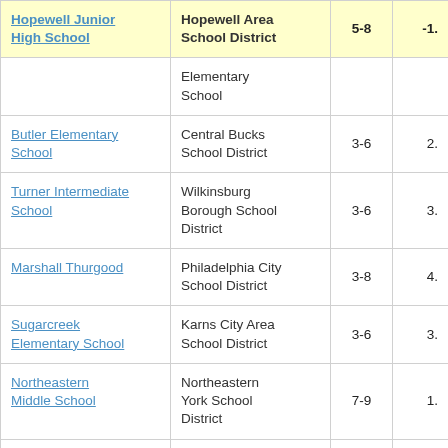| School | District | Grades | Score |
| --- | --- | --- | --- |
| Hopewell Junior High School | Hopewell Area School District | 5-8 | -1. |
|  | Elementary School |  |  |
| Butler Elementary School | Central Bucks School District | 3-6 | 2. |
| Turner Intermediate School | Wilkinsburg Borough School District | 3-6 | 3. |
| Marshall Thurgood | Philadelphia City School District | 3-8 | 4. |
| Sugarcreek Elementary School | Karns City Area School District | 3-6 | 3. |
| Northeastern Middle School | Northeastern York School District | 7-9 | 1. |
| Kathryn D. Markley Elementary School | Great Valley School District | 3-5 | 3. |